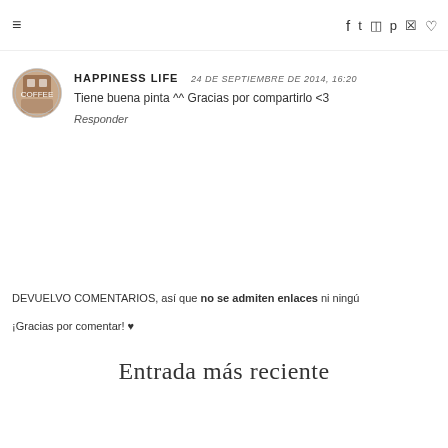≡  f  ✦  ☷  ❧  ♡
HAPPINESS LIFE  24 DE SEPTIEMBRE DE 2014, 16:20
Tiene buena pinta ^^ Gracias por compartirlo <3
Responder
DEVUELVO COMENTARIOS, así que no se admiten enlaces ni ningú...
¡Gracias por comentar! ♥
Entrada más reciente